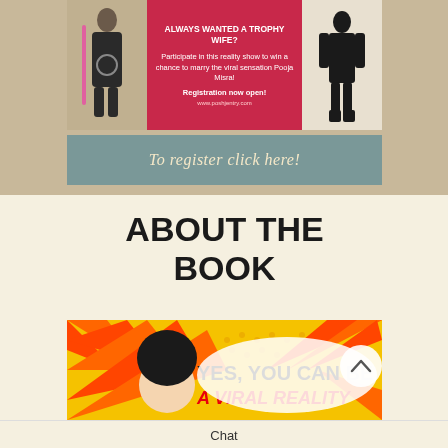[Figure (infographic): Reality show advertisement with woman in black dress on left, red center panel with text, male silhouette on right]
ALWAYS WANTED A TROPHY WIFE?
Participate in this reality show to win a chance to marry the viral sensation Pooja Misra! Registration now open!
www.poshjentry.com
To register click here!
ABOUT THE BOOK
[Figure (illustration): Comic-style book cover with woman cartoon and speech bubble text: YES, YOU CAN BE A VIRAL REALITY]
Chat